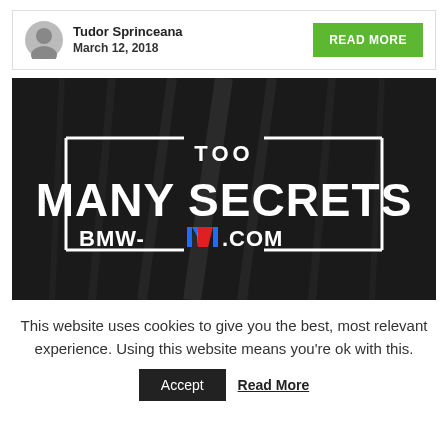Tudor Sprinceana
March 12, 2018
READ MORE
[Figure (photo): Black banner with white text reading 'TOO MANY SECRETS' and 'BMW-M.COM' with BMW M tricolor logo]
This website uses cookies to give you the best, most relevant experience. Using this website means you're ok with this.
Accept
Read More